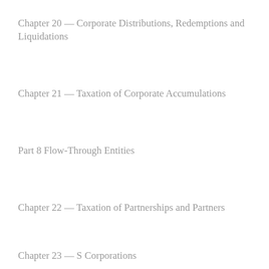Chapter 20 — Corporate Distributions, Redemptions and Liquidations
Chapter 21 — Taxation of Corporate Accumulations
Part 8 Flow-Through Entities
Chapter 22 — Taxation of Partnerships and Partners
Chapter 23 — S Corporations